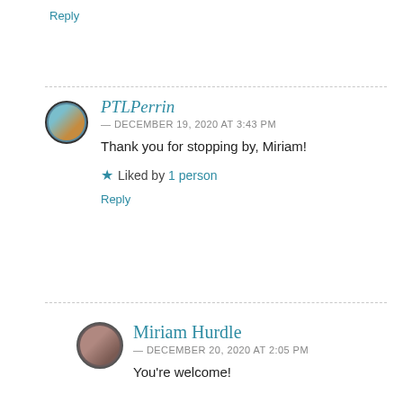Reply
PTLPerrin
— DECEMBER 19, 2020 AT 3:43 PM
Thank you for stopping by, Miriam!
Liked by 1 person
Reply
Miriam Hurdle
— DECEMBER 20, 2020 AT 2:05 PM
You're welcome!